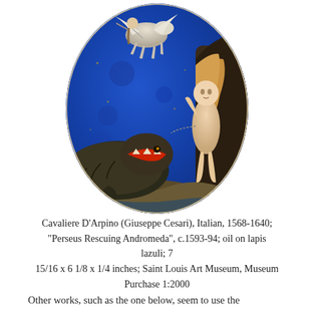[Figure (illustration): Oval painting on lapis lazuli showing Perseus rescuing Andromeda. A nude female figure (Andromeda) stands chained to a rock on the right, with flowing golden hair. A dark sea monster lies at the lower left with an open mouth. In the upper portion, a winged horse (Pegasus) and figures are visible against a brilliant blue lapis lazuli background.]
Cavaliere D'Arpino (Giuseppe Cesari), Italian, 1568-1640; "Perseus Rescuing Andromeda", c.1593-94; oil on lapis lazuli; 7 15/16 x 6 1/8 x 1/4 inches; Saint Louis Art Museum, Museum Purchase 1:2000
Other works, such as the one below, seem to use the